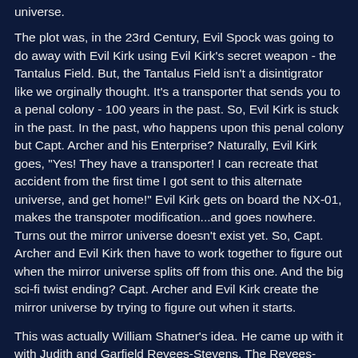universe.
The plot was, in the 23rd Century, Evil Spock was going to do away with Evil Kirk using Evil Kirk's secret weapon - the Tantalus Field. But, the Tantalus Field isn't a disintigrator like we orginally thought. It's a transporter that sends you to a penal colony - 100 years in the past. So, Evil Kirk is stuck in the past. In the past, who happens upon this penal colony but Capt. Archer and his Enterprise? Naturally, Evil Kirk goes, "Yes! They have a transporter! I can recreate that accident from the first time I got sent to this alternate universe, and get home!" Evil Kirk gets on board the NX-01, makes the transpoter modification...and goes nowhere. Turns out the mirror universe doesn't exist yet. So, Capt. Archer and Evil Kirk then have to work together to figure out when the mirror universe splits off from this one. And the big sci-fi twist ending? Capt. Archer and Evil Kirk create the mirror universe by trying to figure out when it starts.
This was actually William Shatner's idea. He came up with it with Judith and Garfield Revees-Stevens. The Revees-Stevens co-wrote all of Shatner's Star Trek novels, and were